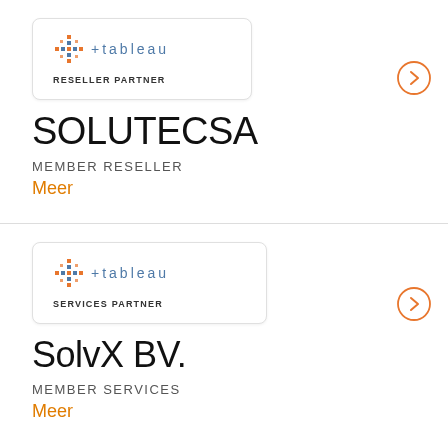[Figure (logo): Tableau Reseller Partner badge logo inside a rounded rectangle card]
SOLUTECSA
MEMBER RESELLER
Meer
[Figure (logo): Tableau Services Partner badge logo inside a rounded rectangle card]
SolvX BV.
MEMBER SERVICES
Meer